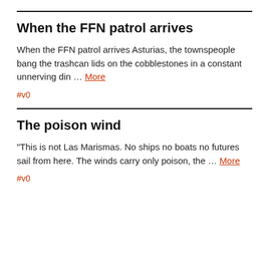When the FFN patrol arrives
When the FFN patrol arrives Asturias, the townspeople bang the trashcan lids on the cobblestones in a constant unnerving din … More
#v0
The poison wind
“This is not Las Marismas. No ships no boats no futures sail from here. The winds carry only poison, the … More
#v0